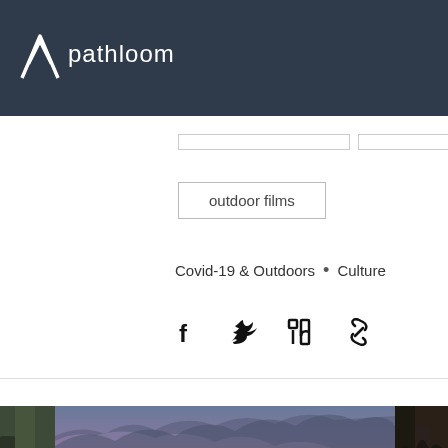pathloom
outdoor films
Covid-19 & Outdoors • Culture
[Figure (infographic): Social share icons: Facebook, Twitter, LinkedIn, link/chain icon]
[Figure (photo): Sunset over a waterway with a wooden pier/dock silhouette in the foreground and vibrant pink and purple cloudy sky reflected in the water]
Mental Health and Mother Natu...